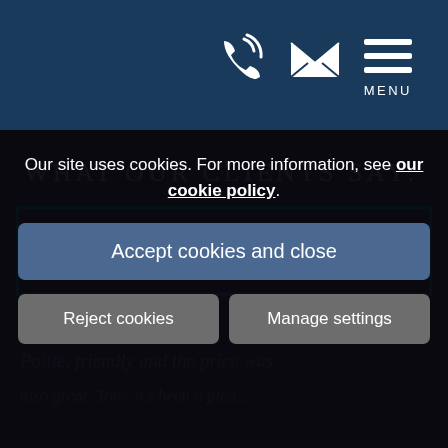[Figure (screenshot): Navigation header bar with phone icon, email/envelope icon, and hamburger menu icon with MENU label, on dark blue background]
WHAT OUR CLIENTS SAY:
Our site uses cookies. For more information, see our cookie policy.
Accept cookies and close
Reject cookies
Manage settings
Polite, friendly and the price was
also great. Too...it's been a plea...